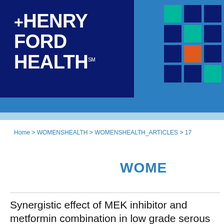[Figure (logo): Henry Ford Health logo with white text on dark navy background and colorful pixel grid pattern on right side]
Home > WOMENSHEALTH > WOMENSHEALTH_ARTICLES > 17
WOME
Synergistic effect of MEK inhibitor and metformin combination in low grade serous